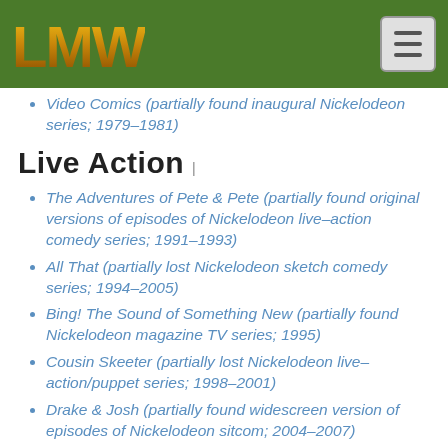LMW (logo) with navigation menu button
Video Comics (partially found inaugural Nickelodeon series; 1979–1981)
Live Action
The Adventures of Pete & Pete (partially found original versions of episodes of Nickelodeon live–action comedy series; 1991–1993)
All That (partially lost Nickelodeon sketch comedy series; 1994–2005)
Bing! The Sound of Something New (partially found Nickelodeon magazine TV series; 1995)
Cousin Skeeter (partially lost Nickelodeon live–action/puppet series; 1998–2001)
Drake & Josh (partially found widescreen version of episodes of Nickelodeon sitcom; 2004–2007)